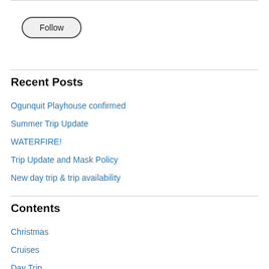[Figure (other): Follow button - rounded rectangle button with label 'Follow']
Recent Posts
Ogunquit Playhouse confirmed
Summer Trip Update
WATERFIRE!
Trip Update and Mask Policy
New day trip & trip availability
Contents
Christmas
Cruises
Day Trip
Europe